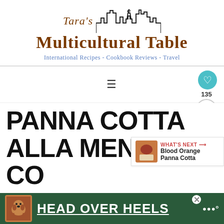[Figure (logo): Tara's Multicultural Table logo with stylized city skyline silhouette and text 'Tara's Multicultural Table, International Recipes - Cookbook Reviews - Travel']
[Figure (other): Hamburger menu icon (three horizontal lines)]
[Figure (other): Teal heart button with like count 135 and share button on right side]
PANNA COTTA ALLA MENTA CO SALSA DI
[Figure (other): What's Next panel: Blood Orange Panna Cotta with thumbnail image]
[Figure (other): Advertisement banner: HEAD OVER HEELS with dog image and green background]